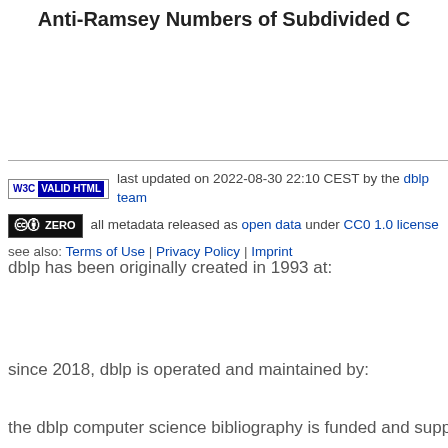Anti-Ramsey Numbers of Subdivided C…
last updated on 2022-08-30 22:10 CEST by the dblp team
all metadata released as open data under CC0 1.0 license
see also: Terms of Use | Privacy Policy | Imprint
dblp has been originally created in 1993 at:
since 2018, dblp is operated and maintained by:
the dblp computer science bibliography is funded and suppo…